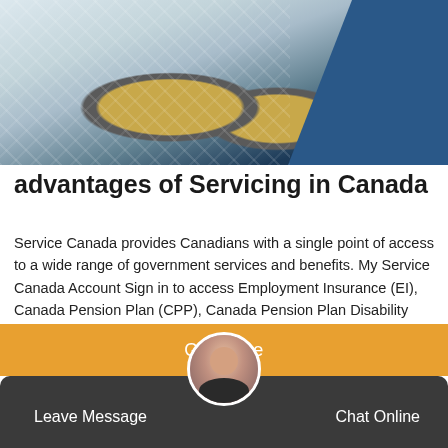[Figure (photo): Photo of a worker in blue uniform/gloves working with circular equipment on a white tarp surface, tools visible]
advantages of Servicing in Canada
Service Canada provides Canadians with a single point of access to a wide range of government services and benefits. My Service Canada Account Sign in to access Employment Insurance (EI), Canada Pension Plan (CPP), Canada Pension Plan Disability (CPP-D) and Old Age Security (OAS).
Get Price
Leave Message   Chat Online